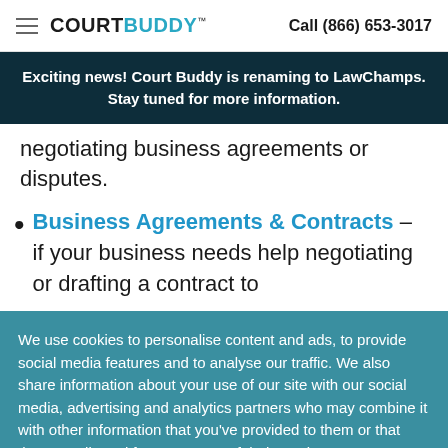COURTBUDDY™  Call (866) 653-3017
Exciting news! Court Buddy is renaming to LawChamps. Stay tuned for more information.
negotiating business agreements or disputes.
Business Agreements & Contracts - if your business needs help negotiating or drafting a contract to
We use cookies to personalise content and ads, to provide social media features and to analyse our traffic. We also share information about your use of our site with our social media, advertising and analytics partners who may combine it with other information that you've provided to them or that they've collected from your use of their services
Accept  Decline